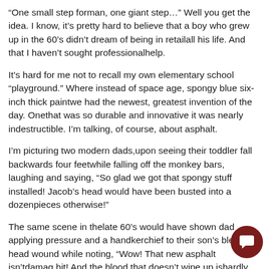“One small step forman, one giant step…” Well you get the idea. I know, it’s pretty hard to believe that a boy who grew up in the 60’s didn’t dream of being in retailall his life. And that I haven’t sought professionalhelp.
It’s hard for me not to recall my own elementary school “playground.” Where instead of space age, spongy blue six-inch thick paintwe had the newest, greatest invention of the day. Onethat was so durable and innovative it was nearly indestructible. I’m talking, of course, about asphalt.
I’m picturing two modern dads,upon seeing their toddler fall backwards four feetwhile falling off the monkey bars, laughing and saying, “So glad we got that spongy stuff installed! Jacob’s head would have been busted into a dozenpieces otherwise!”
The same scene in thelate 60’s would have shown dad applying pressure and a handkerchief to their son’s bleeding head wound while noting, “Wow! That new asphalt isn’tdamag bit! And the blood that doesn’t wipe up ishardly noticea this stuff will last forever on our roads.”